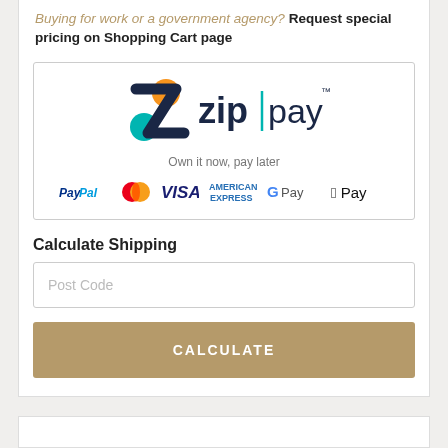Buying for work or a government agency? Request special pricing on Shopping Cart page
[Figure (logo): Zip Pay logo with tagline 'Own it now, pay later' and payment method icons: PayPal, MasterCard, VISA, American Express, Google Pay, Apple Pay]
Calculate Shipping
Post Code
CALCULATE